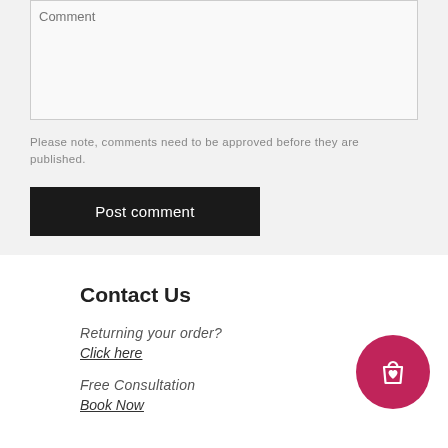Comment
Please note, comments need to be approved before they are published.
Post comment
Contact Us
Returning your order?
Click here
Free Consultation
Book Now
[Figure (illustration): Shopping bag icon with a heart, on a circular crimson/dark-pink background button]